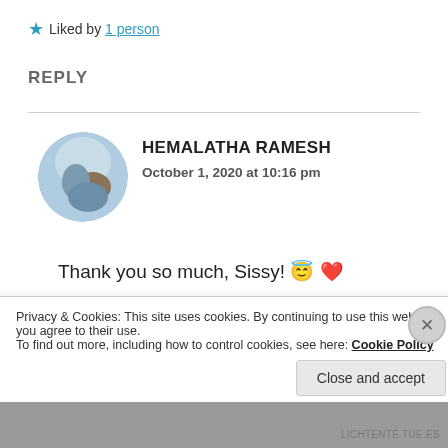★ Liked by 1 person
REPLY
HEMALATHA RAMESH
October 1, 2020 at 10:16 pm
Thank you so much, Sissy! 😇 ❤
Privacy & Cookies: This site uses cookies. By continuing to use this website, you agree to their use.
To find out more, including how to control cookies, see here: Cookie Policy
Close and accept